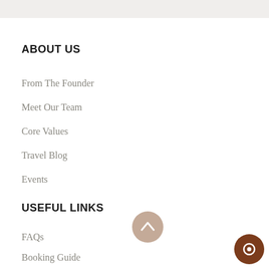ABOUT US
From The Founder
Meet Our Team
Core Values
Travel Blog
Events
USEFUL LINKS
FAQs
Booking Guide
Terms & Conditions
Country Highlights
Travel Hints